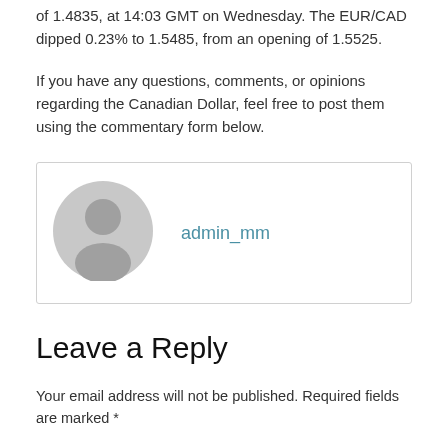of 1.4835, at 14:03 GMT on Wednesday. The EUR/CAD dipped 0.23% to 1.5485, from an opening of 1.5525.
If you have any questions, comments, or opinions regarding the Canadian Dollar, feel free to post them using the commentary form below.
[Figure (other): User avatar placeholder with admin_mm username link inside a bordered comment box]
Leave a Reply
Your email address will not be published. Required fields are marked *
Comment